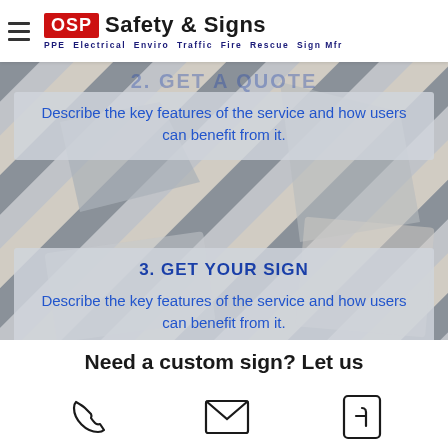OSP Safety & Signs — PPE Electrical Enviro Traffic Fire Rescue Sign Mfr
[Figure (illustration): Background image of safety/road signs with diagonal stripe pattern in grey, beige and dark grey]
2. GET A QUOTE
Describe the key features of the service and how users can benefit from it.
3. GET YOUR SIGN
Describe the key features of the service and how users can benefit from it.
Need a custom sign? Let us
[Figure (infographic): Bottom bar with phone, email, and Facebook icons]